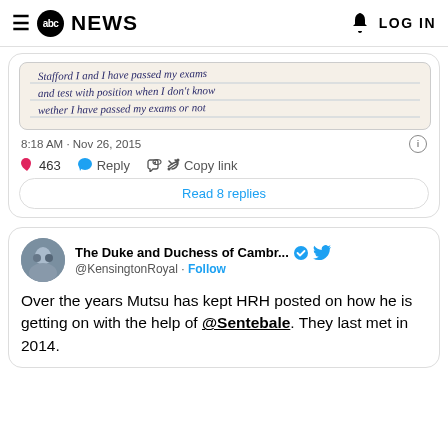abc NEWS  LOG IN
[Figure (screenshot): Handwritten note image shown in tweet]
8:18 AM · Nov 26, 2015
463  Reply  Copy link
Read 8 replies
[Figure (screenshot): Tweet by The Duke and Duchess of Cambridge @KensingtonRoyal with Follow button and Twitter bird icon]
The Duke and Duchess of Cambr...  @KensingtonRoyal · Follow
Over the years Mutsu has kept HRH posted on how he is getting on with the help of @Sentebale. They last met in 2014.